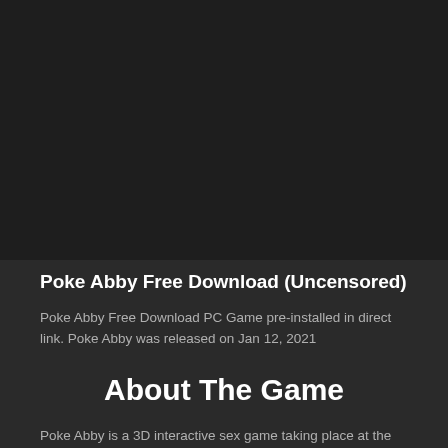[Figure (photo): Dark background area occupying the top portion of the page, representing a video or image embed area.]
Poke Abby Free Download (Uncensored)
Poke Abby Free Download PC Game pre-installed in direct link. Poke Abby was released on Jan 12, 2021
About The Game
Poke Abby is a 3D interactive sex game taking place at the Autumnhearth College for Magically Gifted Beings. In